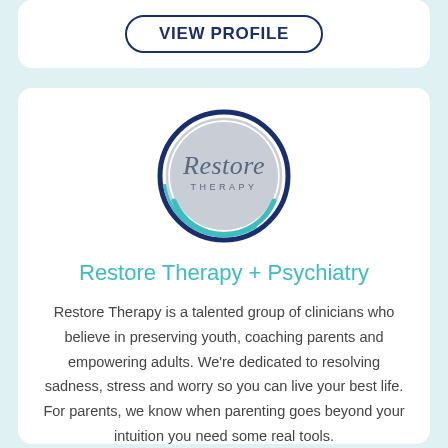[Figure (logo): VIEW PROFILE button with rounded border in dark navy blue]
[Figure (logo): Restore Therapy circular logo with dark navy and teal concentric rings on a silver/grey background with cursive 'Restore' text and 'THERAPY' below]
Restore Therapy + Psychiatry
Restore Therapy is a talented group of clinicians who believe in preserving youth, coaching parents and empowering adults. We're dedicated to resolving sadness, stress and worry so you can live your best life. For parents, we know when parenting goes beyond your intuition you need some real tools.